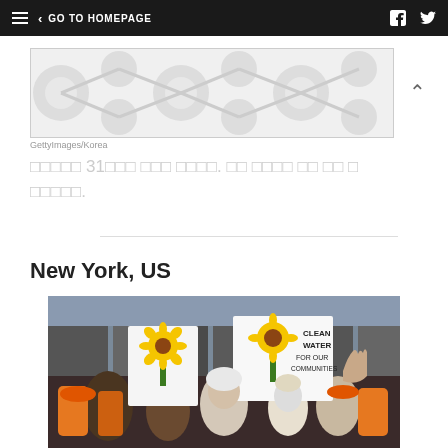GO TO HOMEPAGE
[Figure (illustration): Decorative polka dot pattern image placeholder]
GettyImages/Korea
□□□□□ 31□□□ □□□ □□□□. □□ □□□□ □□ □□ □ □□□□□.
New York, US
[Figure (photo): Protest march in New York with people holding sunflower signs reading CLEAN WATER FOR OUR COMMUNITIES]